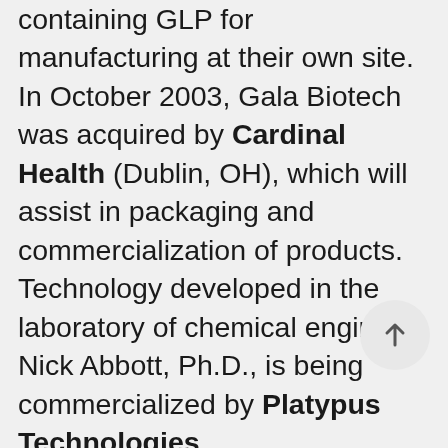containing GLP for manufacturing at their own site. In October 2003, Gala Biotech was acquired by Cardinal Health (Dublin, OH), which will assist in packaging and commercialization of products. Technology developed in the laboratory of chemical engineer Nick Abbott, Ph.D., is being commercialized by Platypus Technologies (www.platypustech.com). Platypus uses liquid crystals, like those in computer monitors, to detect nanoscale changes on cell surfaces. The technology can detect viruses, bacteria, and environmental toxins like pesticides. Why the name Platypus? The platypus bill contains highly specialized receptors that detect prey in muddy water, and “our technology involves highly specialized surfaces to detect target molecules present in complicated